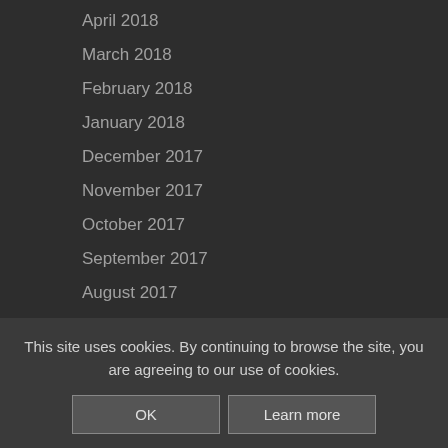April 2018
March 2018
February 2018
January 2018
December 2017
November 2017
October 2017
September 2017
August 2017
July 2017
June 2017
May 2017
April 2017
October 2016
This site uses cookies. By continuing to browse the site, you are agreeing to our use of cookies.